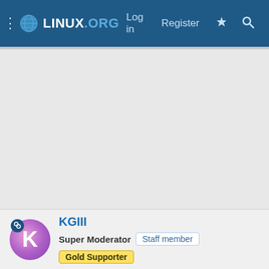LINUX.ORG — Log in  Register
[Figure (screenshot): Large empty gray content area below the navigation bar]
KGIII
Super Moderator  Staff member  Gold Supporter